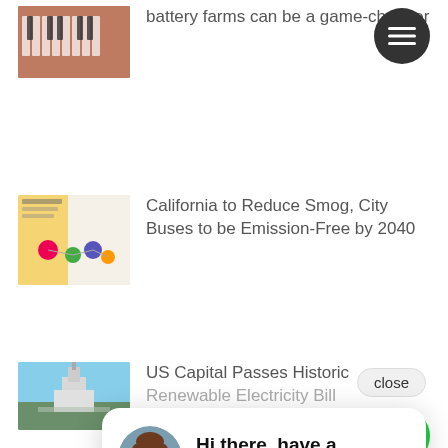[Figure (photo): Thumbnail image of solar panels or industrial facility (partially cropped at top)]
battery farms can be a game-changer
[Figure (illustration): Circular menu button with three horizontal lines (hamburger icon) on dark background]
[Figure (photo): Thumbnail image showing colorful infographic about electric buses]
California to Reduce Smog, City Buses to be Emission-Free by 2040
[Figure (photo): Thumbnail image of US Capitol building with reflecting pool]
US Capital Passes Historic Renewable Electricity Bill
close
[Figure (photo): Avatar photo of a woman with long brown hair]
Hi there, have a question? Text us here.
Archiv
March 2019 (6)
February 2019 (6)
January 2019 (7)